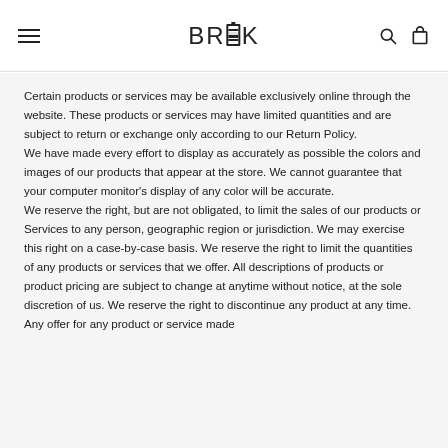BRIK
Certain products or services may be available exclusively online through the website. These products or services may have limited quantities and are subject to return or exchange only according to our Return Policy.
We have made every effort to display as accurately as possible the colors and images of our products that appear at the store. We cannot guarantee that your computer monitor's display of any color will be accurate.
We reserve the right, but are not obligated, to limit the sales of our products or Services to any person, geographic region or jurisdiction. We may exercise this right on a case-by-case basis. We reserve the right to limit the quantities of any products or services that we offer. All descriptions of products or product pricing are subject to change at anytime without notice, at the sole discretion of us. We reserve the right to discontinue any product at any time. Any offer for any product or service made